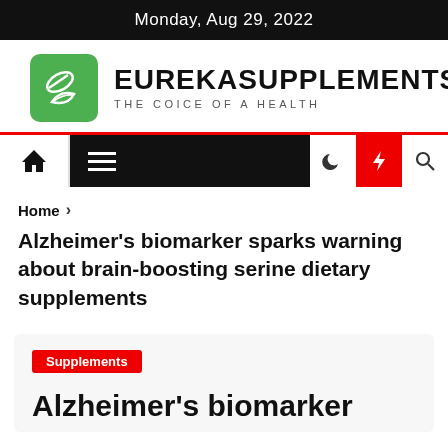Monday, Aug 29, 2022
[Figure (logo): EurekaSupplements logo with green pill/leaf icon and text EUREKASUPPLEMENTS THE COICE OF A HEALTH]
[Figure (infographic): Navigation bar with home icon, hamburger menu on black background, moon icon, red lightning bolt icon, and search icon]
Home > Alzheimer's biomarker sparks warning about brain-boosting serine dietary supplements
Alzheimer's biomarker sparks warning about brain-boosting serine dietary supplements
Supplements
Alzheimer's biomarker